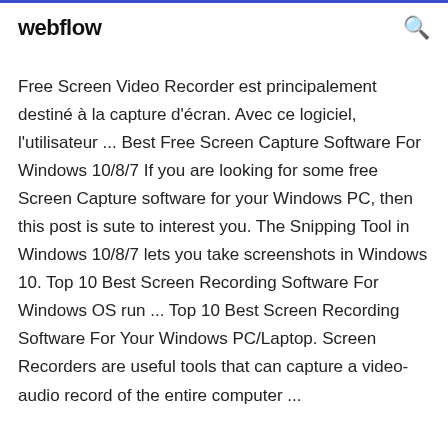webflow
Free Screen Video Recorder est principalement destiné à la capture d'écran. Avec ce logiciel, l'utilisateur ... Best Free Screen Capture Software For Windows 10/8/7 If you are looking for some free Screen Capture software for your Windows PC, then this post is sute to interest you. The Snipping Tool in Windows 10/8/7 lets you take screenshots in Windows 10. Top 10 Best Screen Recording Software For Windows OS run ... Top 10 Best Screen Recording Software For Your Windows PC/Laptop. Screen Recorders are useful tools that can capture a video-audio record of the entire computer ...